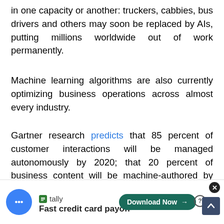in one capacity or another: truckers, cabbies, bus drivers and others may soon be replaced by AIs, putting millions worldwide out of work permanently.
Machine learning algorithms are also currently optimizing business operations across almost every industry.
Gartner research predicts that 85 percent of customer interactions will be managed autonomously by 2020; that 20 percent of business content will be machine-authored by 2018; that 3 million workers will be supervised by a "robo-boss"; and that smart machines will outnumber employees at nearly half of the fastest growing companies. Lowering costs and improving p... what is good fo... as jo... the m...